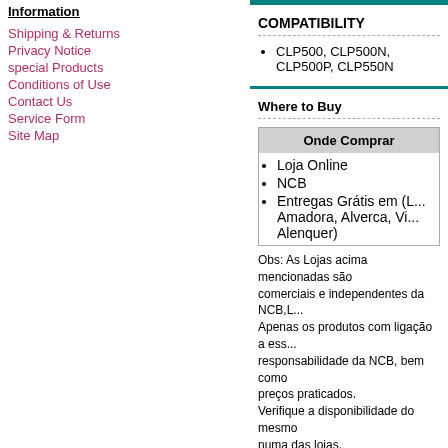Information
Shipping & Returns
Privacy Notice
special Products
Conditions of Use
Contact Us
Service Form
Site Map
COMPATIBILITY
CLP500, CLP500N, CLP500P, CLP550N
Where to Buy
| Onde Comprar |
| --- |
| Loja Online |
| NCB |
| Entregas Grátis em (L... Amadora, Alverca, Vi... Alenquer) |
Obs: As Lojas acima mencionadas são comerciais e independentes da NCB,L... Apenas os produtos com ligação a ess... responsabilidade da NCB, bem como preços praticados. Verifique a disponibilidade do mesmo numa das lojas.